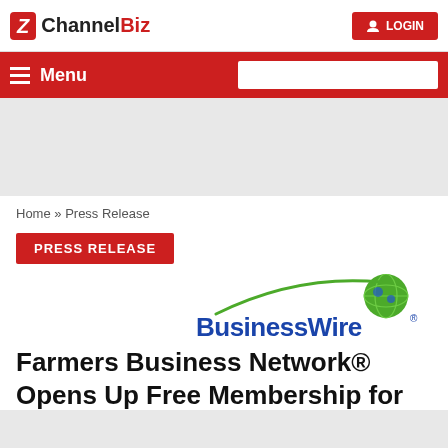ChannelBiz | LOGIN
Menu
Home » Press Release
PRESS RELEASE
[Figure (logo): BusinessWire logo with green globe graphic]
Farmers Business Network® Opens Up Free Membership for All Farmers